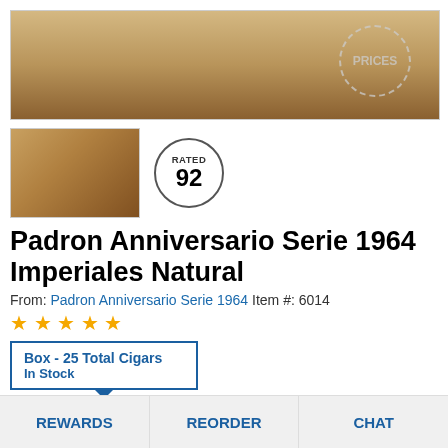[Figure (photo): Top portion of a cigar product image with a 'PRICES' watermark stamp visible]
[Figure (photo): Thumbnail image of a cigar box with cigars inside, and a 'RATED 92' circular badge]
Padron Anniversario Serie 1964 Imperiales Natural
From: Padron Anniversario Serie 1964 Item #: 6014
★★★★★ (star rating)
Box - 25 Total Cigars
In Stock
$416.99
$438.75 MSRP
REWARDS   REORDER   CHAT